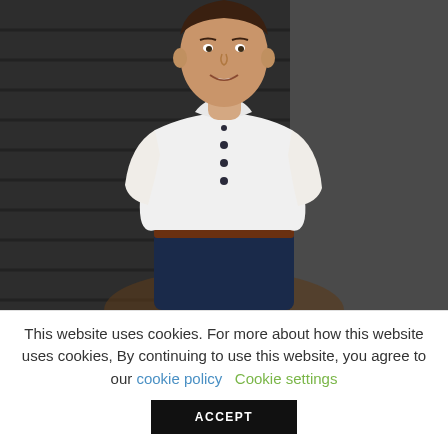[Figure (photo): A smiling young man wearing a white polo shirt with dark buttons, standing in front of a dark wooden wall background. He has his hands behind his back and is looking at the camera.]
This website uses cookies. For more about how this website uses cookies, By continuing to use this website, you agree to our cookie policy   Cookie settings